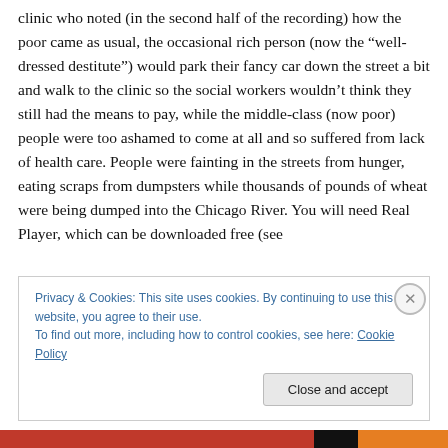clinic who noted (in the second half of the recording) how the poor came as usual, the occasional rich person (now the “well-dressed destitute”) would park their fancy car down the street a bit and walk to the clinic so the social workers wouldn’t think they still had the means to pay, while the middle-class (now poor) people were too ashamed to come at all and so suffered from lack of health care. People were fainting in the streets from hunger, eating scraps from dumpsters while thousands of pounds of wheat were being dumped into the Chicago River. You will need Real Player, which can be downloaded free (see
Privacy & Cookies: This site uses cookies. By continuing to use this website, you agree to their use.
To find out more, including how to control cookies, see here: Cookie Policy